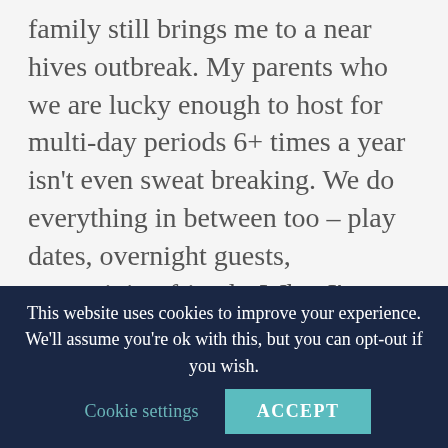family still brings me to a near hives outbreak. My parents who we are lucky enough to host for multi-day periods 6+ times a year isn't even sweat breaking. We do everything in between too – play dates, overnight guests, entertaining friends. What I've learned in all of it is this: clean after the company comes! Having 3x the number of people in your home makes 3x the mess. Yes, I tidy before guests arrive, but I keep it simple and surface related.
This website uses cookies to improve your experience. We'll assume you're ok with this, but you can opt-out if you wish.